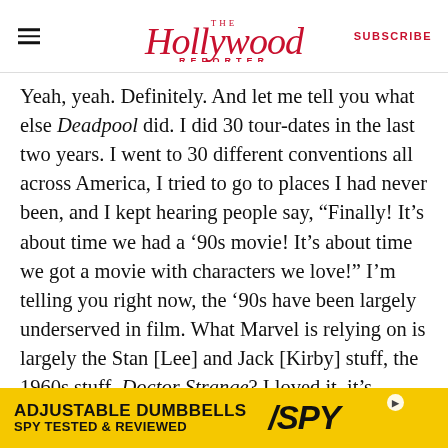The Hollywood Reporter — SUBSCRIBE
Yeah, yeah. Definitely. And let me tell you what else Deadpool did. I did 30 tour-dates in the last two years. I went to 30 different conventions all across America, I tried to go to places I had never been, and I kept hearing people say, “Finally! It’s about time we had a ’90s movie! It’s about time we got a movie with characters we love!” I’m telling you right now, the ’90s have been largely underserved in film. What Marvel is relying on is largely the Stan [Lee] and Jack [Kirby] stuff, the 1960s stuff. Doctor Strange? I loved it, it’s brilliant, but it has its roots in the Lee/Ditko material of the 1960s. Age of Ultron, that
[Figure (other): Advertisement banner for SPY Adjustable Dumbbells — yellow background with bold text 'ADJUSTABLE DUMBBELLS' and 'SPY TESTED & REVIEWED', SPY logo on right]